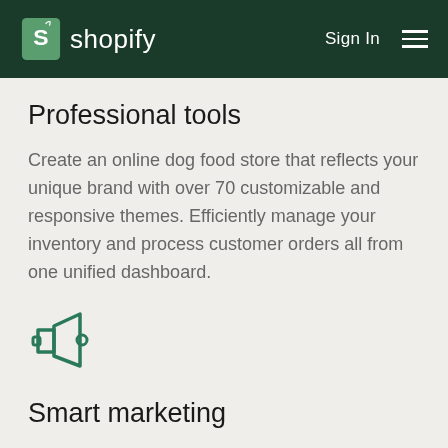shopify  Sign In
Professional tools
Create an online dog food store that reflects your unique brand with over 70 customizable and responsive themes. Efficiently manage your inventory and process customer orders all from one unified dashboard.
[Figure (illustration): Megaphone/bullhorn icon in teal/green outline style]
Smart marketing
Grab your customers' attention with targeted marketing campaigns on social media and Google. Make sure customers can find your dog